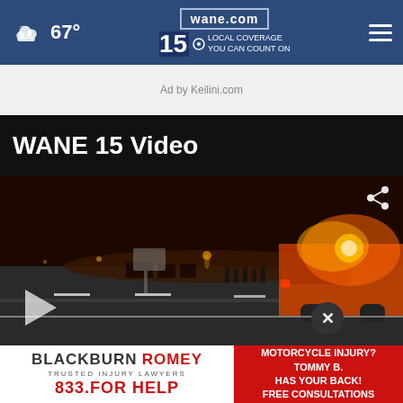wane.com | 15 LOCAL COVERAGE YOU CAN COUNT ON | 67°
Ad by Keilini.com
WANE 15 Video
[Figure (screenshot): Video thumbnail showing a nighttime highway scene with emergency vehicles and flashing orange lights. A play button is visible in the lower left, a share icon in the upper right, and a close (X) button in the lower right area.]
[Figure (photo): Advertisement banner: BLACKBURN ROMEY Trusted Injury Lawyers 833.FOR HELP | MOTORCYCLE INJURY? TOMMY B. HAS YOUR BACK! FREE CONSULTATIONS]